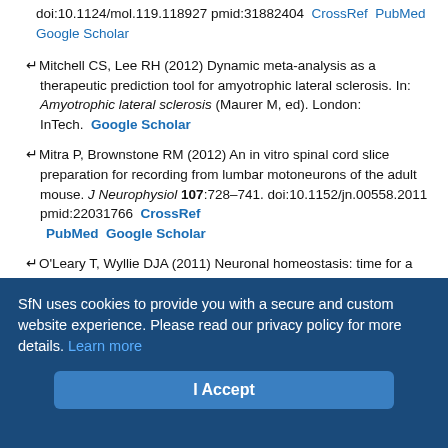doi:10.1124/mol.119.118927 pmid:31882404  CrossRef  PubMed  Google Scholar
Mitchell CS, Lee RH (2012) Dynamic meta-analysis as a therapeutic prediction tool for amyotrophic lateral sclerosis. In: Amyotrophic lateral sclerosis (Maurer M, ed). London: InTech.  Google Scholar
Mitra P, Brownstone RM (2012) An in vitro spinal cord slice preparation for recording from lumbar motoneurons of the adult mouse. J Neurophysiol 107:728–741. doi:10.1152/jn.00558.2011 pmid:22031766  CrossRef  PubMed  Google Scholar
O'Leary T, Wyllie DJA (2011) Neuronal homeostasis: time for a change? J Physiol 589:4811–4826. doi:10.1113/jphysiol.2011.210179 pmid:21825033  CrossRef  PubMed  Google Scholar
O'Leary T, van Rossum MCW, Wyllie DJA (2010) Homeostasis of intrinsic
SfN uses cookies to provide you with a secure and custom website experience. Please read our privacy policy for more details. Learn more